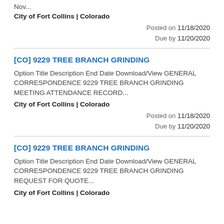Nov...
City of Fort Collins | Colorado
Posted on 11/18/2020
Due by 11/20/2020
[CO] 9229 TREE BRANCH GRINDING
Option Title Description End Date Download/View GENERAL CORRESPONDENCE 9229 TREE BRANCH GRINDING MEETING ATTENDANCE RECORD...
City of Fort Collins | Colorado
Posted on 11/18/2020
Due by 11/20/2020
[CO] 9229 TREE BRANCH GRINDING
Option Title Description End Date Download/View GENERAL CORRESPONDENCE 9229 TREE BRANCH GRINDING REQUEST FOR QUOTE...
City of Fort Collins | Colorado